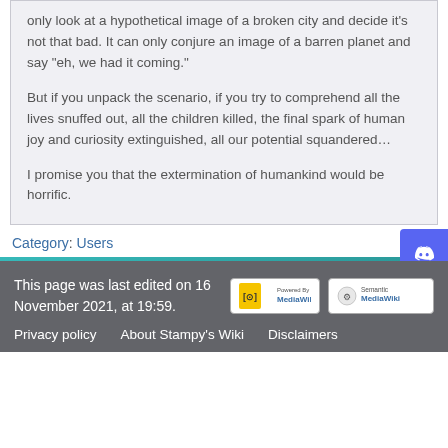only look at a hypothetical image of a broken city and decide it's not that bad. It can only conjure an image of a barren planet and say "eh, we had it coming."
But if you unpack the scenario, if you try to comprehend all the lives snuffed out, all the children killed, the final spark of human joy and curiosity extinguished, all our potential squandered…
I promise you that the extermination of humankind would be horrific.
Category:  Users
This page was last edited on 16 November 2021, at 19:59.
Privacy policy    About Stampy's Wiki    Disclaimers